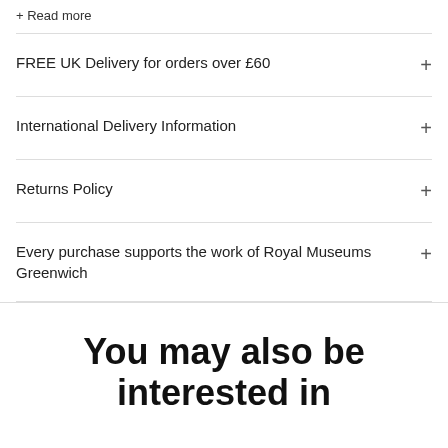+ Read more
FREE UK Delivery for orders over £60
International Delivery Information
Returns Policy
Every purchase supports the work of Royal Museums Greenwich
You may also be interested in